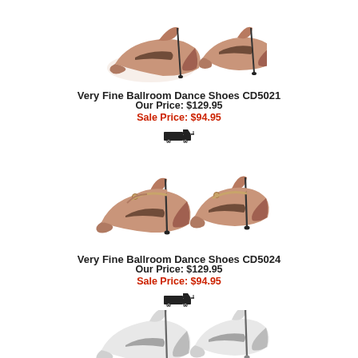[Figure (photo): Two tan/nude ballroom dance heels (CD5021) shown from the side on white background]
Very Fine Ballroom Dance Shoes CD5021
Our Price: $129.95
Sale Price: $94.95
[Figure (illustration): Truck/shipping icon]
[Figure (photo): Two tan/nude ballroom dance heels with strap (CD5024) shown from the side on white background]
Very Fine Ballroom Dance Shoes CD5024
Our Price: $129.95
Sale Price: $94.95
[Figure (illustration): Truck/shipping icon]
[Figure (photo): Two white ballroom dance heels shown from the side on white background (partially visible at bottom)]